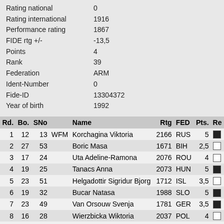Rating national   0
Rating international   1916
Performance rating   1867
FIDE rtg +/-   -13,5
Points   4
Rank   39
Federation   ARM
Ident-Number   0
Fide-ID   13304372
Year of birth   1992
| Rd. | Bo. | SNo |  | Name | Rtg | FED | Pts. | Re |
| --- | --- | --- | --- | --- | --- | --- | --- | --- |
| 1 | 12 | 13 | WFM | Korchagina Viktoria | 2166 | RUS | 5 | ■ |
| 2 | 27 | 53 |  | Boric Masa | 1671 | BIH | 2,5 | □ |
| 3 | 17 | 24 |  | Uta Adeline-Ramona | 2076 | ROU | 4 | □ |
| 4 | 19 | 25 |  | Tanacs Anna | 2073 | HUN | 5 | ■ |
| 5 | 23 | 51 |  | Helgadottir Sigridur Bjorg | 1712 | ISL | 3,5 | □ |
| 6 | 19 | 32 |  | Bucar Natasa | 1988 | SLO | 5 | ■ |
| 7 | 23 | 49 |  | Van Orsouw Svenja | 1781 | GER | 3,5 | ■ |
| 8 | 16 | 28 |  | Wierzbicka Wiktoria | 2037 | POL | 4 | □ |
| 9 | 22 | 52 |  | Narva Ann | 1689 | EST | 3 | ■ |